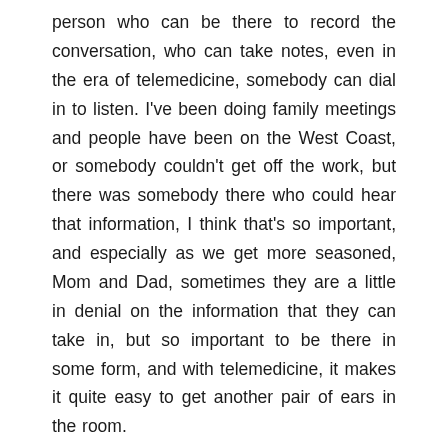person who can be there to record the conversation, who can take notes, even in the era of telemedicine, somebody can dial in to listen. I've been doing family meetings and people have been on the West Coast, or somebody couldn't get off the work, but there was somebody there who could hear that information, I think that's so important, and especially as we get more seasoned, Mom and Dad, sometimes they are a little in denial on the information that they can take in, but so important to be there in some form, and with telemedicine, it makes it quite easy to get another pair of ears in the room.
Absolutely, you are speaking my language, Dr.